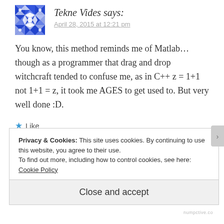[Figure (illustration): Blue and white decorative avatar icon with geometric snowflake-like pattern]
Tekne Vides says:
April 28, 2015 at 12:21 pm
You know, this method reminds me of Matlab... though as a programmer that drag and drop witchcraft tended to confuse me, as in C++ z = 1+1 not 1+1 = z, it took me AGES to get used to. But very well done :D.
★ Like
Privacy & Cookies: This site uses cookies. By continuing to use this website, you agree to their use.
To find out more, including how to control cookies, see here: Cookie Policy
Close and accept
numpctive.co